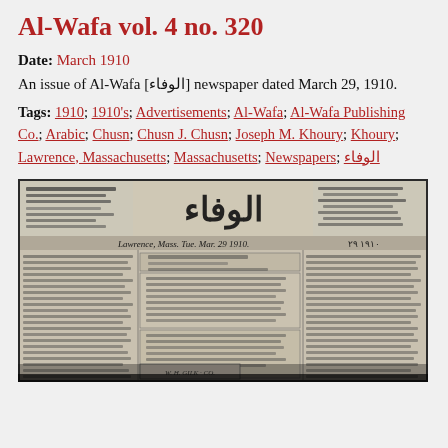Al-Wafa vol. 4 no. 320
Date: March 1910
An issue of Al-Wafa [الوفاء] newspaper dated March 29, 1910.
Tags: 1910; 1910's; Advertisements; Al-Wafa; Al-Wafa Publishing Co.; Arabic; Chusn; Chusn J. Chusn; Joseph M. Khoury; Khoury; Lawrence, Massachusetts; Massachusetts; Newspapers; الوفاء
[Figure (photo): Black and white photo of the front page of Al-Wafa newspaper, an Arabic-language newspaper published in Lawrence, Massachusetts, dated March 29, 1910. Shows Arabic masthead text and bilingual (Arabic and English) content.]